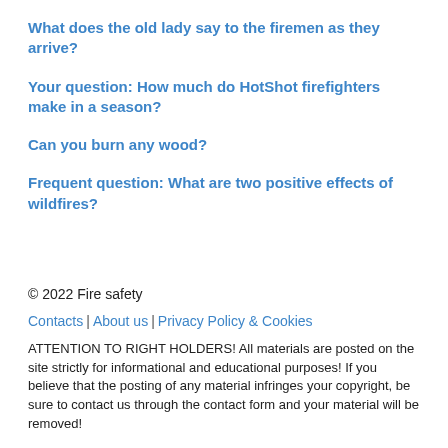What does the old lady say to the firemen as they arrive?
Your question: How much do HotShot firefighters make in a season?
Can you burn any wood?
Frequent question: What are two positive effects of wildfires?
© 2022 Fire safety
Contacts | About us | Privacy Policy & Cookies
ATTENTION TO RIGHT HOLDERS! All materials are posted on the site strictly for informational and educational purposes! If you believe that the posting of any material infringes your copyright, be sure to contact us through the contact form and your material will be removed!